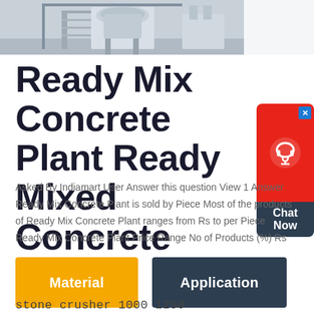[Figure (photo): Photograph of a Ready Mix Concrete Plant / industrial concrete mixing equipment, showing large cylindrical mixer tower with stairs and structural framework, light gray industrial background]
Ready Mix Concrete Plant Ready Mixed Concrete Plant
[Figure (other): Chat Now customer support widget with red rounded box containing a headset icon and blue X close button, below it a dark navy box with text 'Chat Now']
Asked By Indiamart User Answer this question View 1 Answer Ready Mix Concrete Plant is sold by Piece Most of the products of Ready Mix Concrete Plant ranges from Rs to per Piece Ready Mix Concrete Plant Price Range No of Products (%) Rs
[Figure (other): Two buttons: yellow 'Material' button and dark navy 'Application' button]
stone crusher 1000 1250